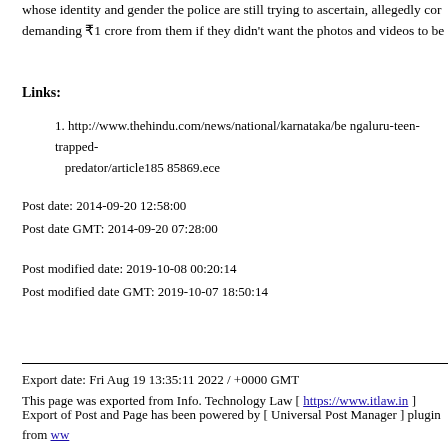whose identity and gender the police are still trying to ascertain, allegedly co... demanding ₹1 crore from them if they didn't want the photos and videos to be...
Links:
1. http://www.thehindu.com/news/national/karnataka/be ngaluru-teen-trapped-... predator/article185 85869.ece
Post date: 2014-09-20 12:58:00
Post date GMT: 2014-09-20 07:28:00
Post modified date: 2019-10-08 00:20:14
Post modified date GMT: 2019-10-07 18:50:14
Export date: Fri Aug 19 13:35:11 2022 / +0000 GMT
This page was exported from Info. Technology Law [ https://www.itlaw.in ]
Export of Post and Page has been powered by [ Universal Post Manager ] plugin from ww...